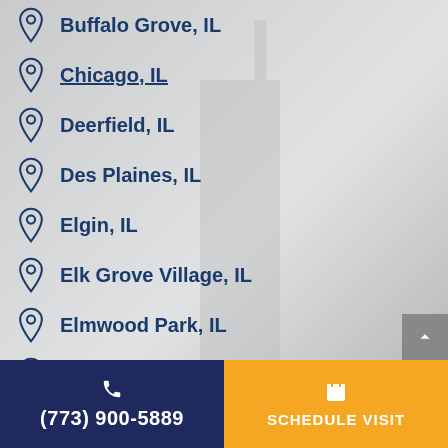Buffalo Grove, IL
Chicago, IL
Deerfield, IL
Des Plaines, IL
Elgin, IL
Elk Grove Village, IL
Elmwood Park, IL
Evanston, IL
Glencoe, IL
Glenview, IL
(773) 900-5889
SCHEDULE VISIT